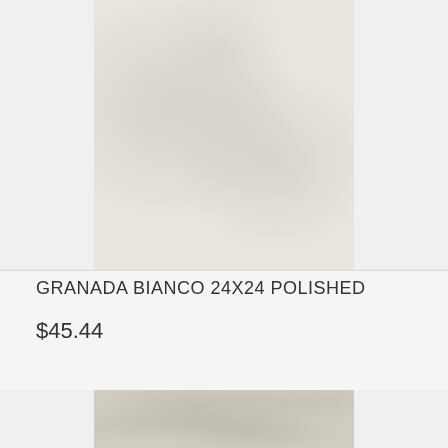[Figure (photo): White/cream stone tile texture — Granada Bianco 24x24 Polished product image, top portion of page]
GRANADA BIANCO 24X24 POLISHED
$45.44
[Figure (photo): Light gray stone tile texture — second product image, partially cropped at bottom of page]